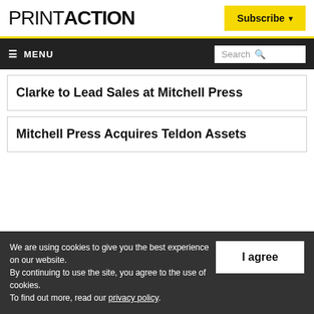PRINTACTION | Subscribe
≡ MENU | Search
Clarke to Lead Sales at Mitchell Press
Mitchell Press Acquires Teldon Assets
We are using cookies to give you the best experience on our website. By continuing to use the site, you agree to the use of cookies. To find out more, read our privacy policy.